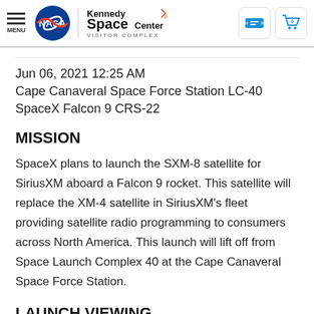MENU | NASA | Kennedy Space Center VISITOR COMPLEX
Jun 06, 2021 12:25 AM
Cape Canaveral Space Force Station LC-40
SpaceX Falcon 9 CRS-22
MISSION
SpaceX plans to launch the SXM-8 satellite for SiriusXM aboard a Falcon 9 rocket. This satellite will replace the XM-4 satellite in SiriusXM's fleet providing satellite radio programming to consumers across North America. This launch will lift off from Space Launch Complex 40 at the Cape Canaveral Space Force Station.
LAUNCH VIEWING
Due to the scheduled launch window of 12:25 AM to